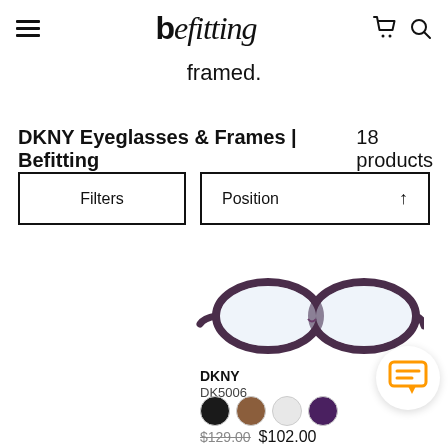befitting — navigation header with hamburger menu, cart, and search icons
framed.
DKNY Eyeglasses & Frames | Befitting   18 products
Filters
Position ↑
[Figure (photo): DKNY DK5006 eyeglasses frame in dark purple/mauve color, cat-eye style]
DKNY
DK5006
Color swatches: black, brown, white/grey, purple
$129.00  $102.00